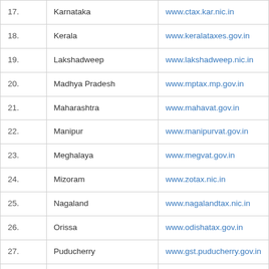| No. | State/UT | Website |
| --- | --- | --- |
| 17. | Karnataka | www.ctax.kar.nic.in |
| 18. | Kerala | www.keralataxes.gov.in |
| 19. | Lakshadweep | www.lakshadweep.nic.in |
| 20. | Madhya Pradesh | www.mptax.mp.gov.in |
| 21. | Maharashtra | www.mahavat.gov.in |
| 22. | Manipur | www.manipurvat.gov.in |
| 23. | Meghalaya | www.megvat.gov.in |
| 24. | Mizoram | www.zotax.nic.in |
| 25. | Nagaland | www.nagalandtax.nic.in |
| 26. | Orissa | www.odishatax.gov.in |
| 27. | Puducherry | www.gst.puducherry.gov.in |
| 28. | Punjab | www.pextax.com |